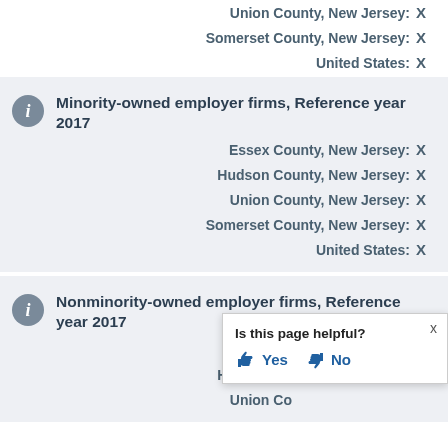Union County, New Jersey: X
Somerset County, New Jersey: X
United States: X
Minority-owned employer firms, Reference year 2017
Essex County, New Jersey: X
Hudson County, New Jersey: X
Union County, New Jersey: X
Somerset County, New Jersey: X
United States: X
Nonminority-owned employer firms, Reference year 2017
Essex County, New Jersey: X
Hudson County, New Jersey: X
Union County, New Jersey: X
Is this page helpful? Yes No